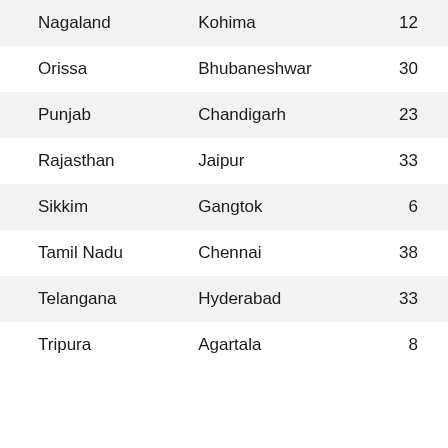| Nagaland | Kohima | 12 |
| Orissa | Bhubaneshwar | 30 |
| Punjab | Chandigarh | 23 |
| Rajasthan | Jaipur | 33 |
| Sikkim | Gangtok | 6 |
| Tamil Nadu | Chennai | 38 |
| Telangana | Hyderabad | 33 |
| Tripura | Agartala | 8 |